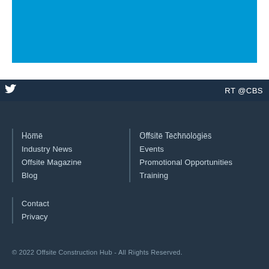[Figure (illustration): Blue banner/header image area]
RT @CBS
Home
Industry News
Offsite Magazine
Blog
Offsite Technologies
Events
Promotional Opportunities
Training
Contact
Privacy
© 2022 Offsite Construction Hub - All Rights Reserved.